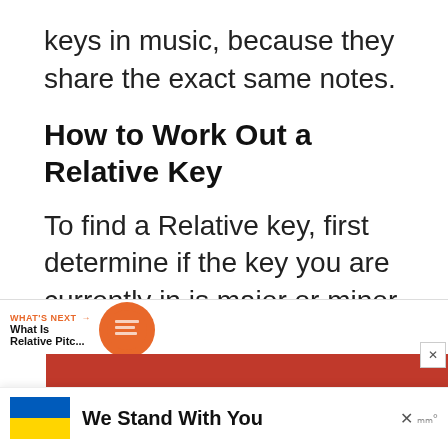keys in music, because they share the exact same notes.
How to Work Out a Relative Key
To find a Relative key, first determine if the key you are currently in is major or minor.
4  ou're in a major key, you move DOWN three semitones to find the relative minor.
[Figure (infographic): What's Next navigation widget with orange circle thumbnail and 'What Is Relative Pitc...' label]
[Figure (infographic): Red advertisement banner with close button overlay]
[Figure (infographic): Ukraine flag banner with 'We Stand With You' text and Mailchimp logo]